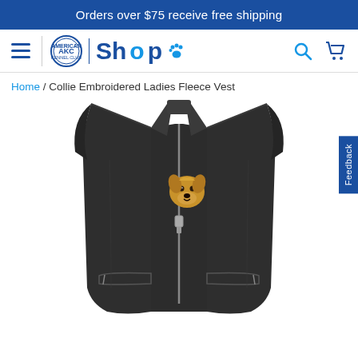Orders over $75 receive free shipping
[Figure (screenshot): AKC Shop navigation bar with hamburger menu, AKC logo, Shop text with paw print, search icon, and cart icon]
Home / Collie Embroidered Ladies Fleece Vest
[Figure (photo): Black ladies fleece vest with embroidered Collie dog head on the left chest area. The vest has a full zip front, stand-up collar, and two zip pockets at the bottom hem.]